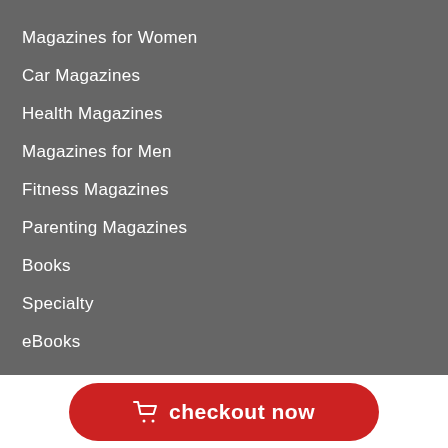Magazines for Women
Car Magazines
Health Magazines
Magazines for Men
Fitness Magazines
Parenting Magazines
Books
Specialty
eBooks
checkout now